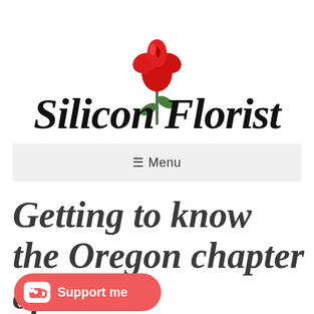[Figure (logo): Silicon Florist logo with a red rose above the text 'Silicon Florist' in cursive script]
☰ Menu
Getting to know the Oregon chapter of TiE (entrepreneurs)